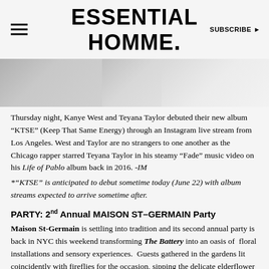ESSENTIAL HOMME.
[Figure (photo): Cropped grayscale photo showing clothing/fabric in light gray and white tones, likely garments on people]
Thursday night, Kanye West and Teyana Taylor debuted their new album "KTSE" (Keep That Same Energy) through an Instagram live stream from Los Angeles. West and Taylor are no strangers to one another as the Chicago rapper starred Teyana Taylor in his steamy "Fade" music video on his Life of Pablo album back in 2016. -IM
*"KTSE" is anticipated to debut sometime today (June 22) with album streams expected to arrive sometime after.
PARTY: 2nd Annual MAISON ST–GERMAIN Party
Maison St-Germain is settling into tradition and its second annual party is back in NYC this weekend transforming The Battery into an oasis of floral installations and sensory experiences. Guests gathered in the gardens lit coincidently with fireflies for the occasion, sipping the delicate elderflower